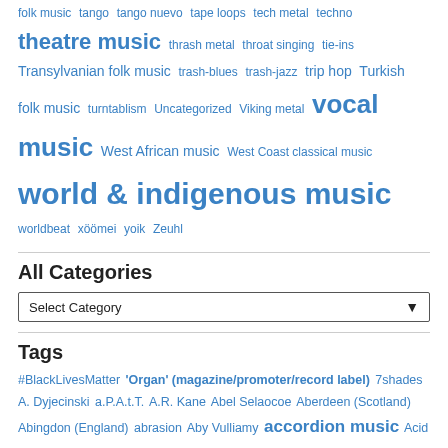folk music  tango  tango nuevo  tape loops  tech metal  techno  theatre music  thrash metal  throat singing  tie-ins  Transylvanian folk music  trash-blues  trash-jazz  trip hop  Turkish folk music  turntablism  Uncategorized  Viking metal  vocal music  West African music  West Coast classical music  world & indigenous music  worldbeat  xöömei  yoik  Zeuhl
All Categories
Select Category
Tags
#BlackLivesMatter  'Organ' (magazine/promoter/record label)  7shades  A. Dyjecinski  a.P.A.t.T.  A.R. Kane  Abel Selaocoe  Aberdeen (Scotland)  Abingdon (England)  abrasion  Aby Vulliamy  accordion music  Acid Mothers Temple  acoustic guitar music  Acoustic Ladyland  acoustic performance